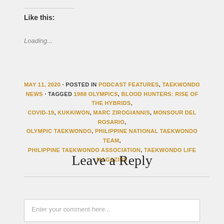Like this:
Loading...
MAY 11, 2020 · POSTED IN PODCAST FEATURES, TAEKWONDO NEWS · TAGGED 1988 OLYMPICS, BLOOD HUNTERS: RISE OF THE HYBRIDS, COVID-19, KUKKIWON, MARC ZIROGIANNIS, MONSOUR DEL ROSARIO, OLYMPIC TAEKWONDO, PHILIPPINE NATIONAL TAEKWONDO TEAM, PHILIPPINE TAEKWONDO ASSOCIATION, TAEKWONDO LIFE MAGAZINE
Leave a Reply